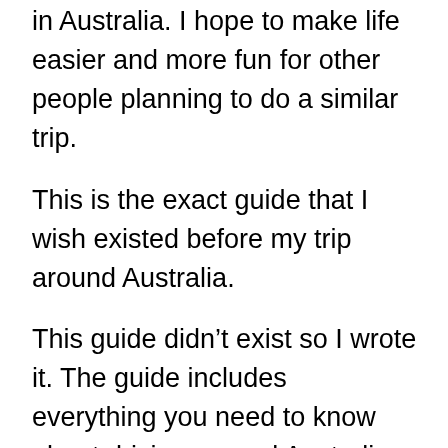in Australia. I hope to make life easier and more fun for other people planning to do a similar trip.
This is the exact guide that I wish existed before my trip around Australia.
This guide didn't exist so I wrote it. The guide includes everything you need to know about driving around Australia on a relatively limited budget. It will save you money, time, headaches, and let you focus on what's important, enjoying your trip. You won't have to waste time doing as much research and ideally this guide will get you excited about your trip...